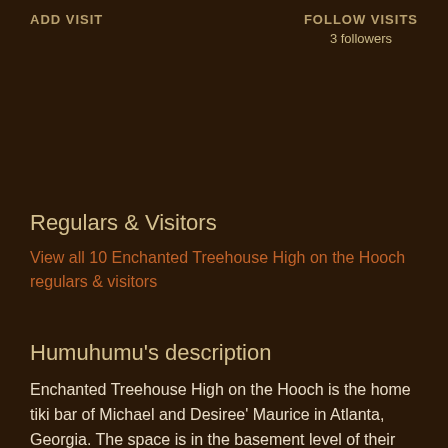ADD VISIT
FOLLOW VISITS
3 followers
Regulars & Visitors
View all 10 Enchanted Treehouse High on the Hooch regulars & visitors
Humuhumu's description
Enchanted Treehouse High on the Hooch is the home tiki bar of Michael and Desiree' Maurice in Atlanta, Georgia. The space is in the basement level of their home, which sits over the Chattahoochee (The Hooch) River, like a treehouse. The bar top wraps and extends from inside to outside through